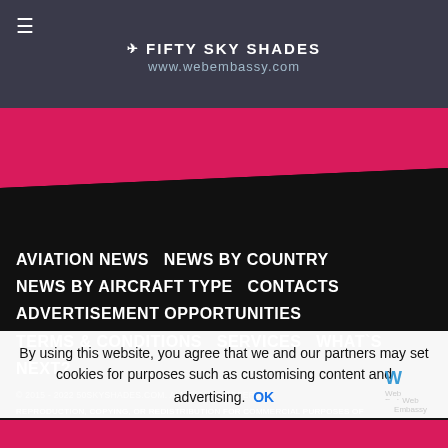[Figure (screenshot): Website header banner with hamburger menu icon, Fifty Sky Shades logo and brand name, and URL www.webembassy.com overlay]
[Figure (illustration): Pink and black diagonal shape dividing the header from the footer navigation area]
AVIATION NEWS   NEWS BY COUNTRY   NEWS BY AIRCRAFT TYPE   CONTACTS   ADVERTISEMENT OPPORTUNITIES   TERMS & CONDITIONS   SERVICES   WHAT`S NEXT?
© 2015 - 2022 50SKYSHADES.COM. ALL RIGHTS RESERVED.
REPRODUCTION, COPYING, OR REDISTRIBUTION FOR COMMERCIAL PURPOSES OF ANY MATERIALS OR DESIGN ELEMENTS ON 50SKYSHADES.COM WEB SITE IS STRICTLY PROHIBITED WITHOUT THE EXPRESS WRITTEN PERMISSION OF THE AUTHOR OR TRADEMARK OWNER.
By using this website, you agree that we and our partners may set cookies for purposes such as customising content and advertising.
[Figure (logo): Web Embassy logo with blue M-shaped icon and text 'Web Embassy']